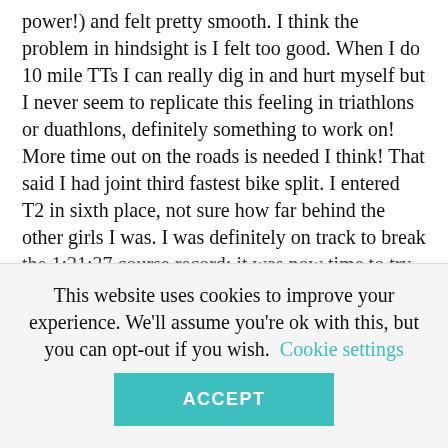power!) and felt pretty smooth.  I think the problem in hindsight is I felt too good.  When I do 10 mile TTs I can really dig in and hurt myself but I never seem to replicate this feeling in triathlons or duathlons, definitely something to work on! More time out on the roads is needed I think! That said I had joint third fastest bike split.  I entered T2 in sixth place, not sure how far behind the other girls I was. I was definitely on track to break the 1:21:37 course record; it was now time to try and execute goal 3.  I ran so hard out of T2 that I thought my legs might give up on me part way round the course but they didn't.  I still felt pretty strong and pushed hard right to the end, catching another girl in the final 1k to complete the second 5k in
This website uses cookies to improve your experience. We'll assume you're ok with this, but you can opt-out if you wish.  Cookie settings
ACCEPT